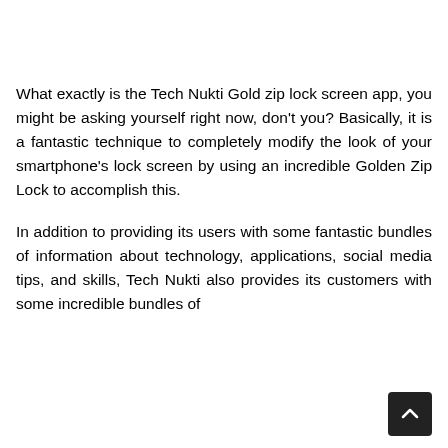What exactly is the Tech Nukti Gold zip lock screen app, you might be asking yourself right now, don't you? Basically, it is a fantastic technique to completely modify the look of your smartphone's lock screen by using an incredible Golden Zip Lock to accomplish this.
In addition to providing its users with some fantastic bundles of information about technology, applications, social media tips, and skills, Tech Nukti also provides its customers with some incredible bundles of